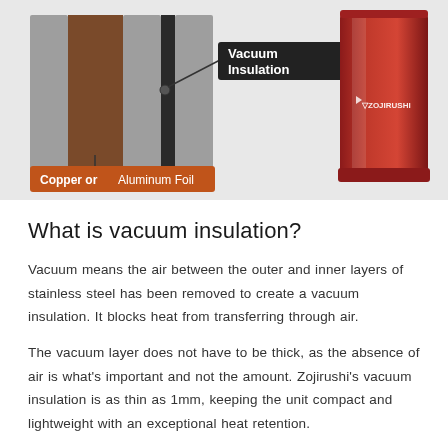[Figure (schematic): Diagram showing vacuum insulation structure with labeled layers: Vacuum Insulation (black label), Copper or Aluminum Foil (orange label), and a cross-section of stainless steel walls. Beside the diagram is a red Zojirushi vacuum-insulated food jar.]
What is vacuum insulation?
Vacuum means the air between the outer and inner layers of stainless steel has been removed to create a vacuum insulation. It blocks heat from transferring through air.
The vacuum layer does not have to be thick, as the absence of air is what's important and not the amount. Zojirushi's vacuum insulation is as thin as 1mm, keeping the unit compact and lightweight with an exceptional heat retention.